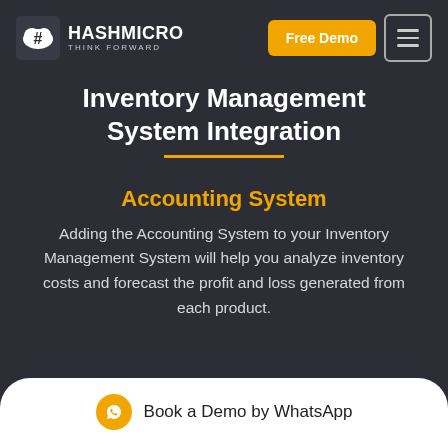[Figure (logo): HashMicro logo with cloud/hash icon and text HASHMICRO THINK FORWARD]
Free Demo
Inventory Management System Integration
Accounting System
Adding the Accounting System to your Inventory Management System will help you analyze inventory costs and forecast the profit and loss generated from each product.
Book a Demo by WhatsApp